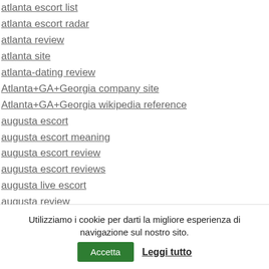atlanta escort list
atlanta escort radar
atlanta review
atlanta site
atlanta-dating review
Atlanta+GA+Georgia company site
Atlanta+GA+Georgia wikipedia reference
augusta escort
augusta escort meaning
augusta escort review
augusta escort reviews
augusta live escort
augusta review
augusta reviews
augusta sign in
augusta what is an escort
Utilizziamo i cookie per darti la migliore esperienza di navigazione sul nostro sito. Accetta  Leggi tutto